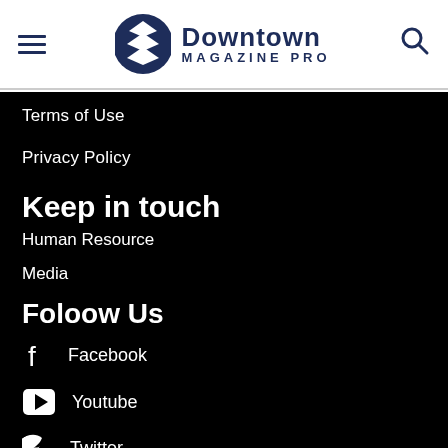Downtown Magazine Pro
Terms of Use
Privacy Policy
Keep in touch
Human Resource
Media
Foloow Us
Facebook
Youtube
Twitter
Instagram